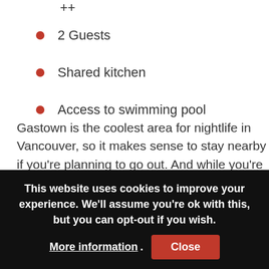2 Guests
Shared kitchen
Access to swimming pool
Gastown is the coolest area for nightlife in Vancouver, so it makes sense to stay nearby if you’re planning to go out. And while you’re at it, you may as well be somewhere with an awesome view like in this Vancouver homestay! That living room has incredible views of the harbour. Your friendly
This website uses cookies to improve your experience. We’ll assume you’re ok with this, but you can opt-out if you wish. More information. Close